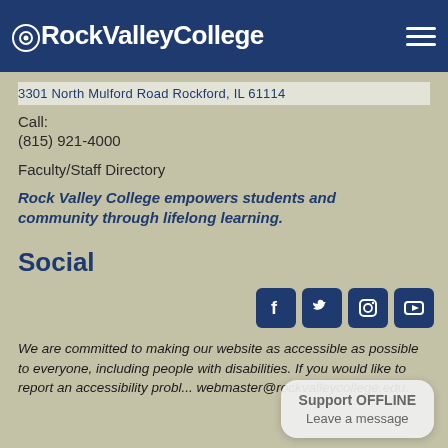Rock Valley College
3301 North Mulford Road Rockford, IL 61114
Call:
(815) 921-4000
Faculty/Staff Directory
Rock Valley College empowers students and community through lifelong learning.
Social
[Figure (screenshot): Four social media icons: Facebook, Twitter, Instagram, YouTube in dark navy rounded squares]
We are committed to making our website as accessible as possible to everyone, including people with disabilities. If you would like to report an accessibility prob... webmaster@rockvalleycollege.edu.
Support OFFLINE
Leave a message